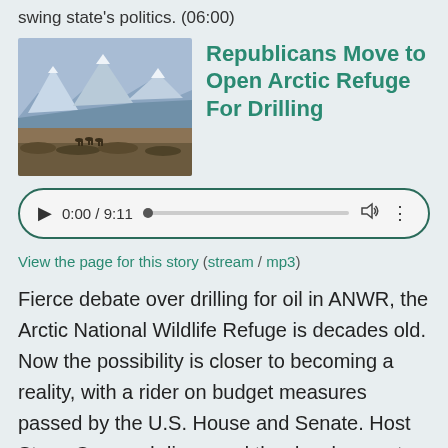swing state's politics. (06:00)
Republicans Move to Open Arctic Refuge For Drilling
[Figure (photo): Snow-capped mountains with caribou or deer grazing on tundra in the foreground, representing the Arctic National Wildlife Refuge landscape.]
[Figure (other): Audio player showing 0:00 / 9:11 with play button, progress bar, volume icon, and more options icon.]
View the page for this story (stream / mp3)
Fierce debate over drilling for oil in ANWR, the Arctic National Wildlife Refuge is decades old. Now the possibility is closer to becoming a reality, with a rider on budget measures passed by the U.S. House and Senate. Host Steve Curwood discussed the developments and